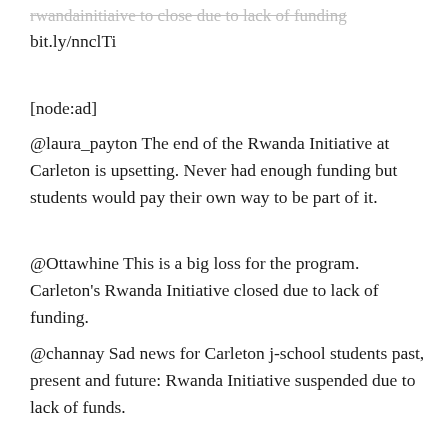rwandainitiaive to close due to lack of funding bit.ly/nnclTi
[node:ad]
@laura_payton The end of the Rwanda Initiative at Carleton is upsetting. Never had enough funding but students would pay their own way to be part of it.
@Ottawhine This is a big loss for the program. Carleton's Rwanda Initiative closed due to lack of funding.
@channay Sad news for Carleton j-school students past, present and future: Rwanda Initiative suspended due to lack of funds.
@amkfoote Awful, awful news. A reason people come to CU. Lack of $$$ scuttles Carleton-Rwanda journalism